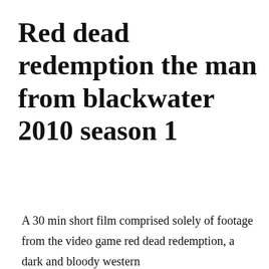Red dead redemption the man from blackwater 2010 season 1
A 30 min short film comprised solely of footage from the video game red dead redemption, a dark and bloody western